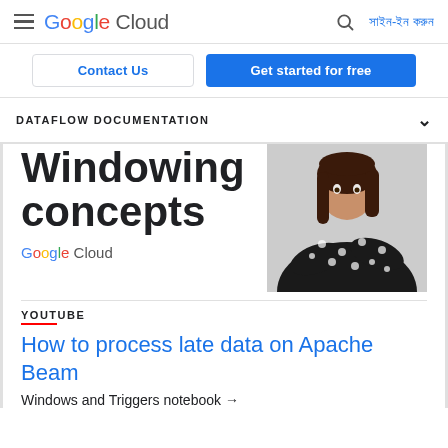Google Cloud — সাইন-ইন করুন
Contact Us | Get started for free
DATAFLOW DOCUMENTATION
Windowing concepts
[Figure (photo): Photo of a woman in a dark polka-dot top with arms crossed]
Google Cloud
YOUTUBE
How to process late data on Apache Beam
Windows and Triggers notebook →